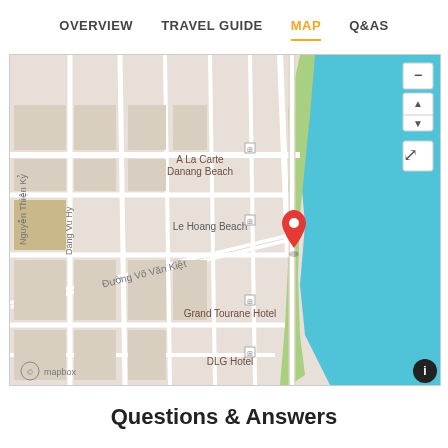OVERVIEW   TRAVEL GUIDE   MAP   Q&AS
[Figure (map): Map showing Le Hoang Beach area in Danang, Vietnam with streets including Đường Võ Văn Kiệt, Nguyễn Thiện Kỷ, Dang Vu Hy, landmarks A La Carte Danang Beach, Grand Tourane Hotel, DLG Hotel, and a red map pin marker at Le Hoang Beach. Ocean (water) visible on the right. Mapbox attribution at bottom left.]
Questions & Answers